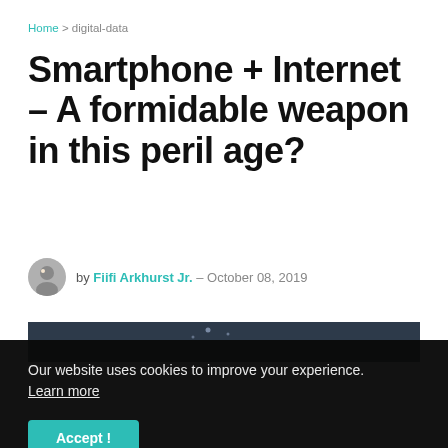Home > digital-data
Smartphone + Internet – A formidable weapon in this peril age?
by Fiifi Arkhurst Jr. – October 08, 2019
[Figure (photo): Dark tech background showing a hand interacting with a glowing digital network/internet connectivity visualization]
Our website uses cookies to improve your experience. Learn more
Accept !